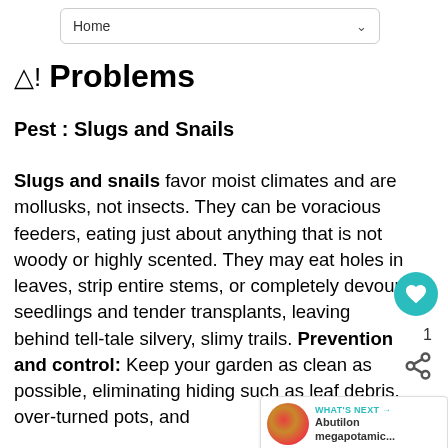Home
⚠ Problems
Pest : Slugs and Snails
Slugs and snails favor moist climates and are mollusks, not insects. They can be voracious feeders, eating just about anything that is not woody or highly scented. They may eat holes in leaves, strip entire stems, or completely devour seedlings and tender transplants, leaving behind tell-tale silvery, slimy trails. Prevention and control: Keep your garden as clean as possible, eliminating hiding such as leaf debris, over-turned pots, and